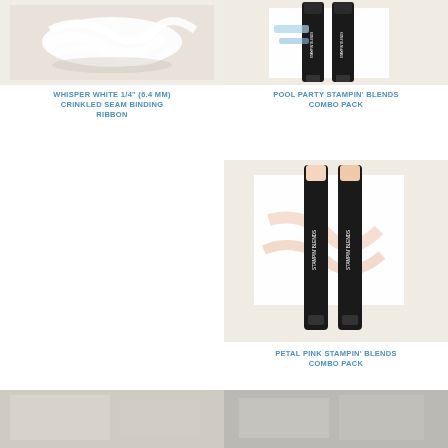[Figure (photo): Whisper White crinkled seam binding ribbon, white fabric ribbon on light background]
WHISPER WHITE 1/4" (6.4 MM) CRINKLED SEAM BINDING RIBBON
[Figure (photo): Pool Party Stampin' Blends combo pack, two black marker pens with blue tips on light background]
POOL PARTY STAMPIN' BLENDS COMBO PACK
[Figure (photo): Petal Pink Stampin' Blends combo pack, two black marker pens with pink/peach tips on light background with swatches]
PETAL PINK STAMPIN' BLENDS COMBO PACK
[Figure (photo): Bottom left product image, partially visible]
[Figure (photo): Bottom right product image, partially visible]